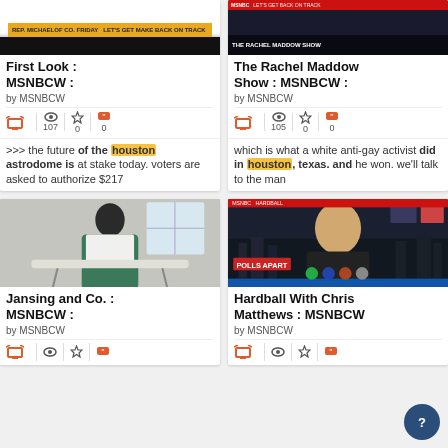[Figure (screenshot): TV show thumbnail for First Look MSNBCW with orange banner at bottom]
First Look : MSNBCW :
by MSNBCW
107 views, 0 favorites, 0 quotes
>>> the future of the houston astrodome is at stake today. voters are asked to authorize $217
[Figure (screenshot): TV show thumbnail for The Rachel Maddow Show MSNBCW with dark studio background]
The Rachel Maddow Show : MSNBCW :
by MSNBCW
105 views, 0 favorites, 0 quotes
which is what a white anti-gay activist did in houston, texas. and he won. we'll talk to the man
[Figure (screenshot): TV show thumbnail for Jansing and Co. MSNBCW showing woman ironing]
Jansing and Co. : MSNBCW :
by MSNBCW
[Figure (screenshot): TV show thumbnail for Hardball With Chris Matthews MSNBCW showing host at desk]
Hardball With Chris Matthews : MSNBCW
by MSNBCW